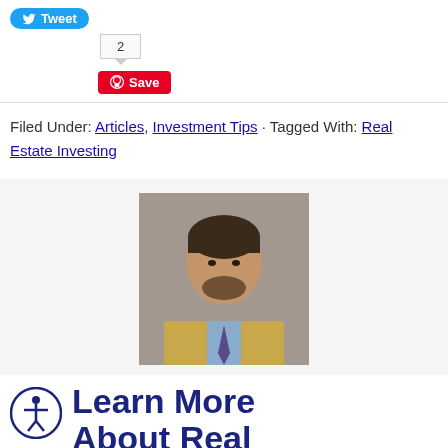[Figure (other): Twitter Tweet button (blue rounded button with bird icon and 'Tweet' text)]
2
[Figure (other): Pinterest Save button (red button with Pinterest logo and 'Save' text)]
Filed Under: Articles, Investment Tips · Tagged With: Real Estate Investing
[Figure (photo): Headshot of a man in a suit and tie, smiling, against a grey background]
Learn More About Real